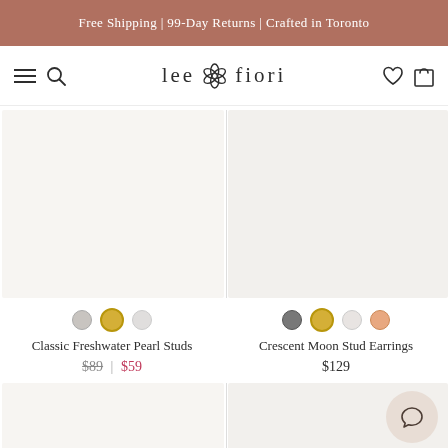Free Shipping | 99-Day Returns | Crafted in Toronto
[Figure (logo): Lee Fiori brand logo with flower icon, navigation bar with hamburger menu, search icon, wishlist heart, and shopping bag icons]
[Figure (photo): Classic Freshwater Pearl Studs product image placeholder - light beige background]
[Figure (photo): Crescent Moon Stud Earrings product image placeholder - light beige background]
Classic Freshwater Pearl Studs
$89 | $59
Crescent Moon Stud Earrings
$129